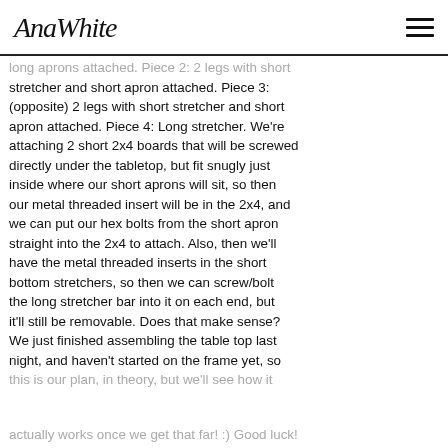AnaWhite
long aprons attached. Piece 2: 2 legs with short stretcher and short apron attached. Piece 3: (opposite) 2 legs with short stretcher and short apron attached. Piece 4: Long stretcher. We're attaching 2 short 2x4 boards that will be screwed directly under the tabletop, but fit snugly just inside where our short aprons will sit, so then our metal threaded insert will be in the 2x4, and we can put our hex bolts from the short apron straight into the 2x4 to attach. Also, then we'll have the metal threaded inserts in the short bottom stretchers, so then we can screw/bolt the long stretcher bar into it on each end, but it'll still be removable. Does that make sense? We just finished assembling the table top last night, and haven't started on the frame yet, so this is our plan, in theory, but we'll see how it actually works once we get that far! :) Good luck!